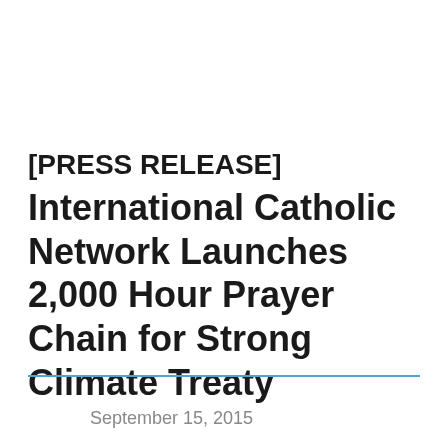[PRESS RELEASE] International Catholic Network Launches 2,000 Hour Prayer Chain for Strong Climate Treaty
September 15, 2015